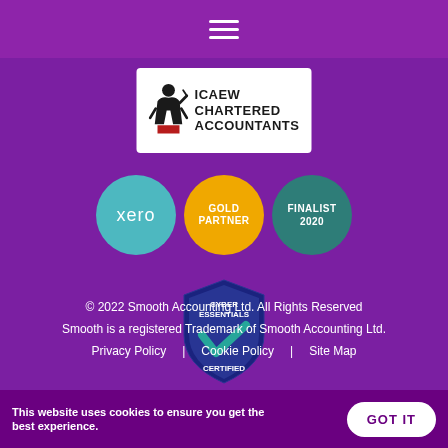[Figure (logo): Hamburger menu icon (three horizontal white lines) on purple background]
[Figure (logo): ICAEW Chartered Accountants logo on white background with figure graphic]
[Figure (logo): Three circular badges: xero (teal), Gold Partner (gold/yellow), Finalist 2020 (dark teal)]
[Figure (logo): Cyber Essentials Certified badge shield shape with teal checkmark]
© 2022 Smooth Accounting Ltd. All Rights Reserved
Smooth is a registered Trademark of Smooth Accounting Ltd.
Privacy Policy | Cookie Policy | Site Map
This website uses cookies to ensure you get the best experience.
GOT IT